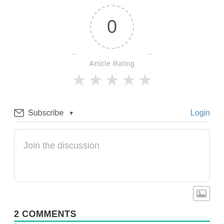[Figure (infographic): Article rating widget showing a dashed circle with '0' in the center, dashes on each side, 'Article Rating' label, and 5 empty gray stars below]
Subscribe ▾
Login
Join the discussion
[Figure (infographic): Image upload icon button (small square with mountain/image icon)]
2 COMMENTS
2
🔥 Oldest ▾